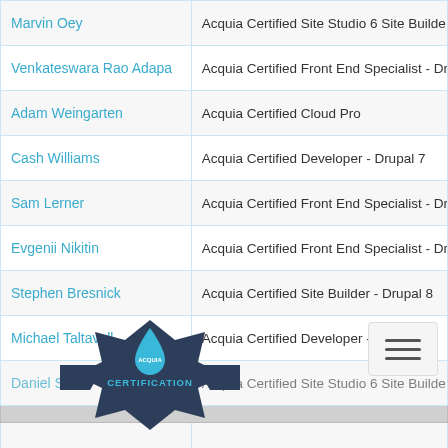| Name | Certification |
| --- | --- |
| Marvin Oey | Acquia Certified Site Studio 6 Site Builde… |
| Venkateswara Rao Adapa | Acquia Certified Front End Specialist - Dr… |
| Adam Weingarten | Acquia Certified Cloud Pro |
| Cash Williams | Acquia Certified Developer - Drupal 7 |
| Sam Lerner | Acquia Certified Front End Specialist - Dr… |
| Evgenii Nikitin | Acquia Certified Front End Specialist - Dr… |
| Stephen Bresnick | Acquia Certified Site Builder - Drupal 8 |
| Michael Taltavull | Acquia Certified Developer - Drupal 8 |
| Daniel Swier | Acquia Certified Site Studio 6 Site Builde… |
|  |  |
| Hernani Borges de Freitas | Acquia Certified Back End Specialist - Dr… |
| Brendon Chill | Acquia Certified Site Builder - Drupal 8 |
[Figure (logo): Acquia Certification badge logo — blue droplet shape with dark star/banner and text CERTIFICATION]